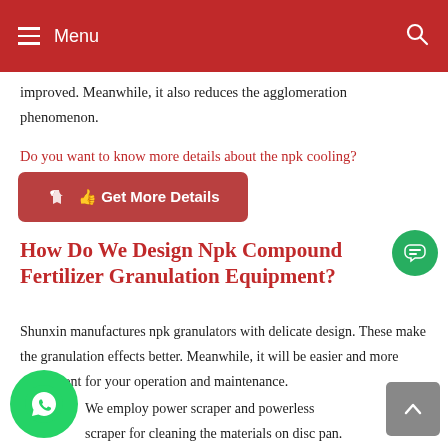Menu
improved. Meanwhile, it also reduces the agglomeration phenomenon.
Do you want to know more details about the npk cooling?
[Figure (other): Get More Details button with hand pointer icon]
How Do We Design Npk Compound Fertilizer Granulation Equipment?
Shunxin manufactures npk granulators with delicate design. These make the granulation effects better. Meanwhile, it will be easier and more convenient for your operation and maintenance.
We employ power scraper and powerless scraper for cleaning the materials on disc pan. The pan granulating machine pelletize the powders through the rotating disk.